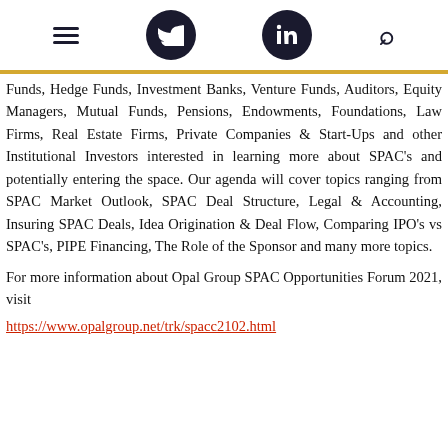[navigation bar with hamburger menu, Twitter button, LinkedIn button, search icon]
Funds, Hedge Funds, Investment Banks, Venture Funds, Auditors, Equity Managers, Mutual Funds, Pensions, Endowments, Foundations, Law Firms, Real Estate Firms, Private Companies & Start-Ups and other Institutional Investors interested in learning more about SPAC's and potentially entering the space. Our agenda will cover topics ranging from SPAC Market Outlook, SPAC Deal Structure, Legal & Accounting, Insuring SPAC Deals, Idea Origination & Deal Flow, Comparing IPO's vs SPAC's, PIPE Financing, The Role of the Sponsor and many more topics.
For more information about Opal Group SPAC Opportunities Forum 2021, visit
https://www.opalgroup.net/trk/spacc2102.html